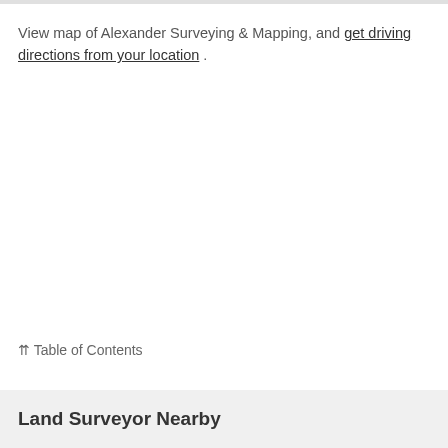View map of Alexander Surveying & Mapping, and get driving directions from your location .
⇈ Table of Contents
Land Surveyor Nearby